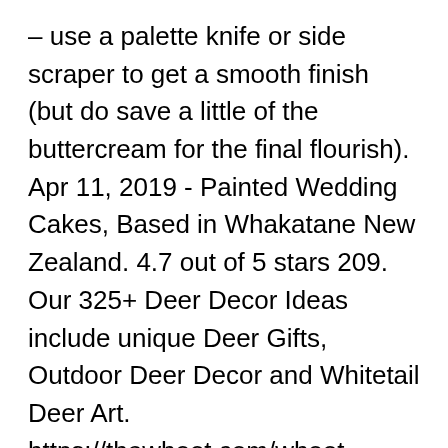– use a palette knife or side scraper to get a smooth finish (but do save a little of the buttercream for the final flourish). Apr 11, 2019 - Painted Wedding Cakes, Based in Whakatane New Zealand. 4.7 out of 5 stars 209. Our 325+ Deer Decor Ideas include unique Deer Gifts, Outdoor Deer Decor and Whitetail Deer Art. https://thewhoot.com/whoot-news/recipes/pull-apart-cupcake-cakes khiggins Posted 9 Nov 2004 , 6:21pm. How Do I-3D Deer Cake Decorating By sgregory Updated 3 Nov 2012 , 2:08am by shokamp sgregory Posted 29 Jun 2011 , 3:52pm. What should be the wedding cake 2019? I was inspired to make these after my co-worker, Vicki,